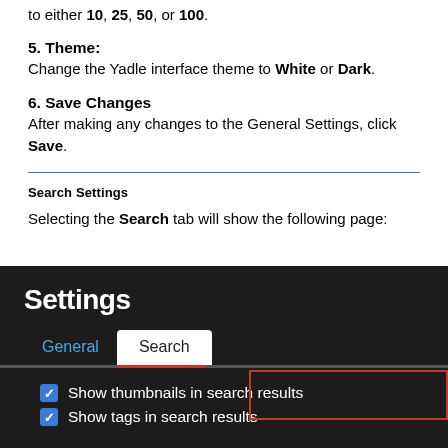to either 10, 25, 50, or 100.
5. Theme: Change the Yadle interface theme to White or Dark.
6. Save Changes After making any changes to the General Settings, click Save.
Search Settings
Selecting the Search tab will show the following page:
[Figure (screenshot): Dark-themed Settings page screenshot showing General and Search tabs, with Search tab active, and checkboxes for 'Show thumbnails in search results' and 'Show tags in search results' visible.]